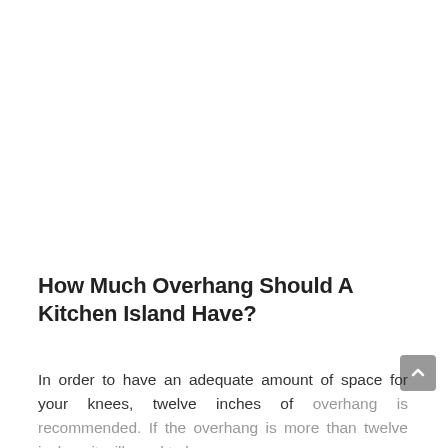How Much Overhang Should A Kitchen Island Have?
In order to have an adequate amount of space for your knees, twelve inches of overhang is recommended. If the overhang is more than twelve inches, it will need to be